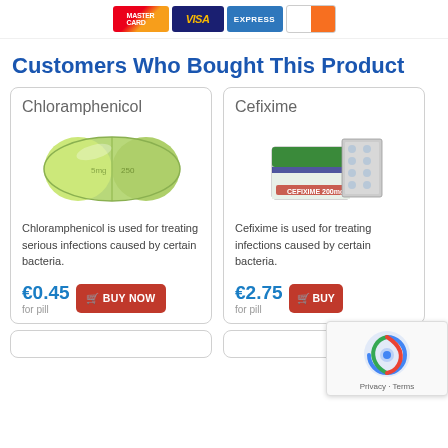[Figure (infographic): Payment method icons: Mastercard, Visa, American Express, Discover]
Customers Who Bought This Product
[Figure (photo): Chloramphenicol capsule - green, oblong capsule]
Chloramphenicol
Chloramphenicol is used for treating serious infections caused by certain bacteria.
€0.45 for pill
[Figure (photo): Cefixime medication box with blister pack]
Cefixime
Cefixime is used for treating infections caused by certain bacteria.
€2.75 for pill